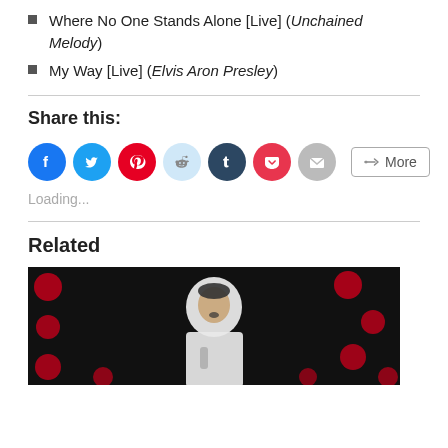Where No One Stands Alone [Live] (Unchained Melody)
My Way [Live] (Elvis Aron Presley)
Share this:
[Figure (infographic): Social sharing buttons: Facebook (blue circle), Twitter (cyan circle), Pinterest (red circle), Reddit (light blue circle), Tumblr (dark navy circle), Pocket (red circle), Email (gray circle), and a More button with share icon.]
Loading...
Related
[Figure (photo): A man in a white suit singing into a microphone against a dark background with red bokeh lights.]